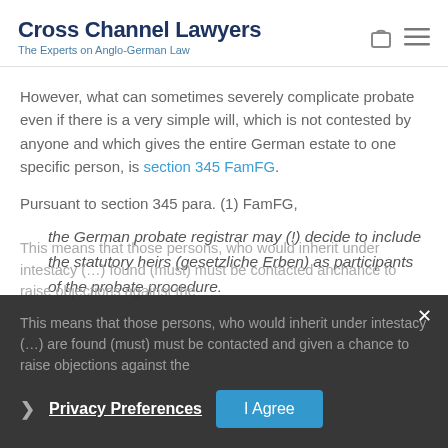Cross Channel Lawyers — The Experts on Anglo-German Law
However, what can sometimes severely complicate probate even if there is a very simple will, which is not contested by anyone and which gives the entire German estate to one specific person, is section 345 FamFG.
Pursuant to section 345 para. (1) FamFG,
the German probate registrar may (!) decide to include the statutory heirs (gesetzliche Erben) as participants of the probate procedure.
This means that those persons, who would inherit under intestacy (…) are found (must) must be contacted and given a chance to raise objections against the…